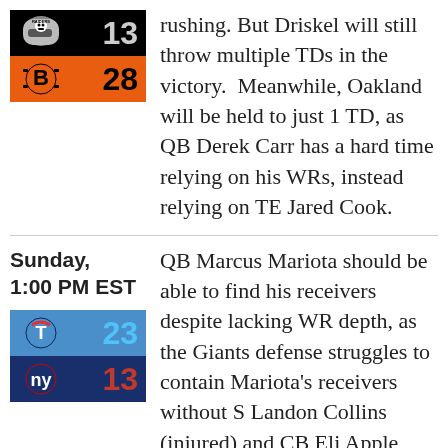[Figure (infographic): Raiders 13 vs Bengals 28 scorebox with team logos]
rushing. But Driskel will still throw multiple TDs in the victory.  Meanwhile, Oakland will be held to just 1 TD, as QB Derek Carr has a hard time relying on his WRs, instead relying on TE Jared Cook.
Sunday, 1:00 PM EST
[Figure (infographic): Titans 23 vs Giants 13 scorebox with team logos]
QB Marcus Mariota should be able to find his receivers despite lacking WR depth, as the Giants defense struggles to contain Mariota's receivers without S Landon Collins (injured) and CB Eli Apple (traded).  The Giants will fall short as the defense struggles